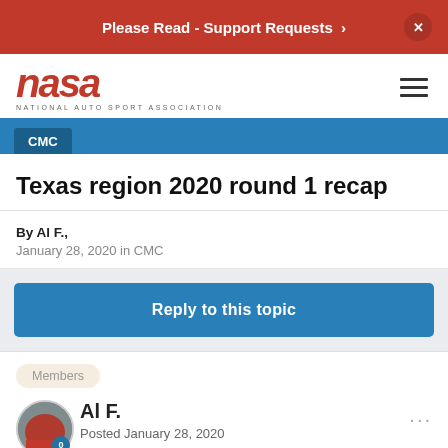Please Read - Support Requests ›  ×
[Figure (logo): NASA National Auto Sport Association logo in red italic bold font with tagline below]
CMC
Texas region 2020 round 1 recap
By Al F.,
January 28, 2020 in CMC
Reply to this topic
Members
Al F.
Posted January 28, 2020